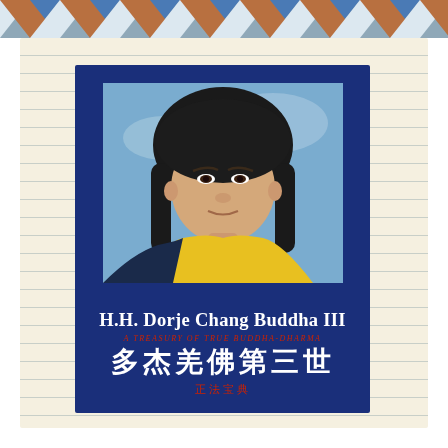[Figure (illustration): Book cover showing H.H. Dorje Chang Buddha III. The cover has a dark blue background with a portrait photograph of an Asian person with dark hair wearing yellow and dark robes. Below the photo is the title 'H.H. Dorje Chang Buddha III', subtitle 'A TREASURY OF TRUE BUDDHA-DHARMA', followed by Chinese characters '多杰羌佛第三世' and '正法宝典'. The book cover is placed on a lined notebook paper background with an airmail-style striped border at the top.]